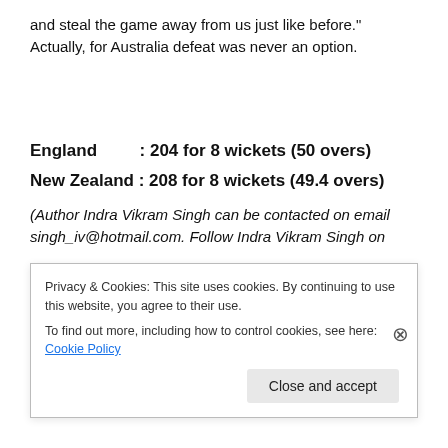and steal the game away from us just like before." Actually, for Australia defeat was never an option.
England : 204 for 8 wickets (50 overs)
New Zealand : 208 for 8 wickets (49.4 overs)
(Author Indra Vikram Singh can be contacted on email singh_iv@hotmail.com. Follow Indra Vikram Singh on
Privacy & Cookies: This site uses cookies. By continuing to use this website, you agree to their use.
To find out more, including how to control cookies, see here: Cookie Policy